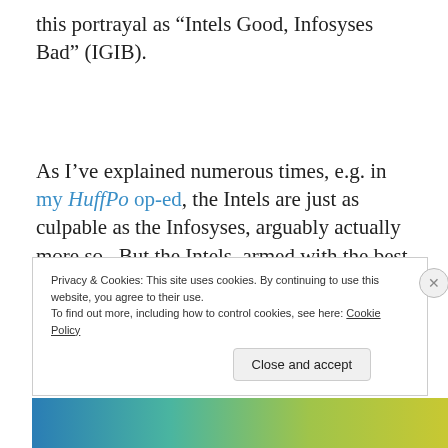this portrayal as “Intels Good, Infosyses Bad” (IGIB).
As I’ve explained numerous times, e.g. in my HuffPo op-ed, the Intels are just as culpable as the Infosyses, arguably actually more so.  But the Intels, armed with the best PR people and lobbyists, have found that IGIB scapegoating is
Privacy & Cookies: This site uses cookies. By continuing to use this website, you agree to their use.
To find out more, including how to control cookies, see here: Cookie Policy
Close and accept